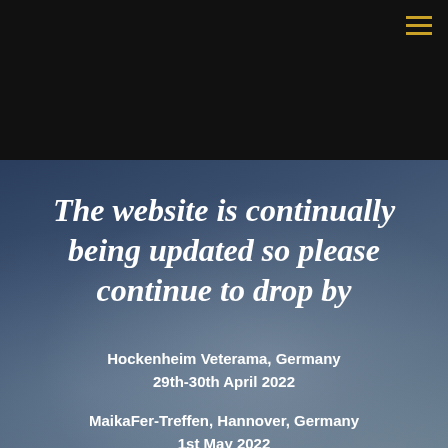☰
The website is continually being updated so please continue to drop by
Hockenheim Veterama, Germany
29th-30th April 2022
MaikaFer-Treffen, Hannover, Germany
1st May 2022